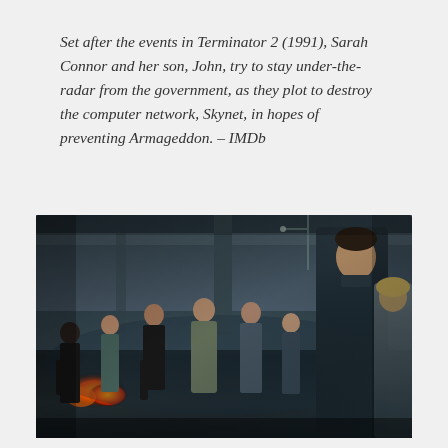Set after the events in Terminator 2 (1991), Sarah Connor and her son, John, try to stay under-the-radar from the government, as they plot to destroy the computer network, Skynet, in hopes of preventing Armageddon. – IMDb
[Figure (photo): Promotional cast photo for the TV series showing a group of characters posed on an urban street under an overpass/bridge structure, with fire visible in the background. A young male lead (John Connor) is prominent in the foreground right, facing slightly back toward camera, wearing a dark hoodie. Other cast members are arranged behind him. A blonde female character is on the far right. The scene has a dark, cinematic, action-thriller tone.]